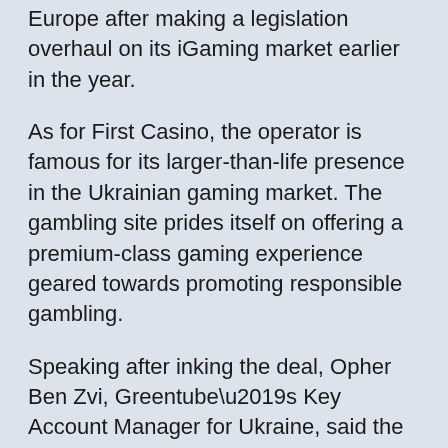Europe after making a legislation overhaul on its iGaming market earlier in the year.
As for First Casino, the operator is famous for its larger-than-life presence in the Ukrainian gaming market. The gambling site prides itself on offering a premium-class gaming experience geared towards promoting responsible gambling.
Speaking after inking the deal, Opher Ben Zvi, Greentube’s Key Account Manager for Ukraine, said the gaming market in the country is full of untapped potential. He expressed the company’s delight in entering the freshly regulated market via a strong brand like First Casino. Opher reiterated that First Casino is the perfect partner in its mission to reach Ukrainian players.
On the other hand, Maistrenko Andrii, First Casino’s Chief Financial Officer, said the NOVOMATIC Interactive brand’s content deserves all the praise